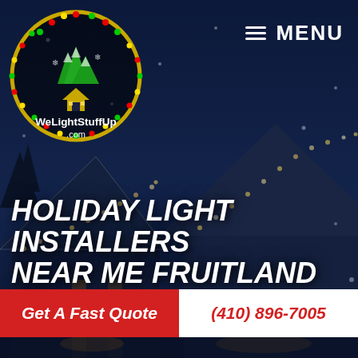[Figure (photo): Night-time photo of a house with Christmas/holiday lights on the roofline and exterior, snowy winter scene with dark blue sky background.]
[Figure (logo): WeLightStuffUp.com circular logo with Christmas trees, house icon, and colorful LED lights around the border on a dark background with gold circle.]
≡ MENU
HOLIDAY LIGHT INSTALLERS NEAR ME FRUITLAND MD
Get A Fast Quote
(410) 896-7005